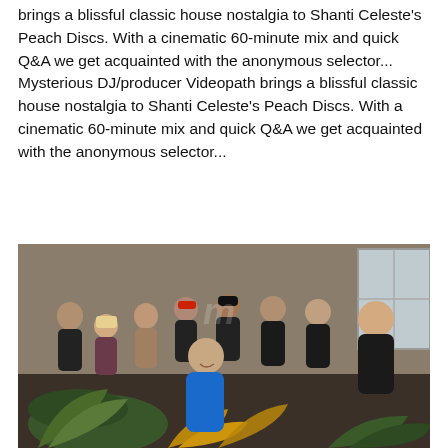brings a blissful classic house nostalgia to Shanti Celeste's Peach Discs. With a cinematic 60-minute mix and quick Q&A we get acquainted with the anonymous selector...
Mysterious DJ/producer Videopath brings a blissful classic house nostalgia to Shanti Celeste's Peach Discs. With a cinematic 60-minute mix and quick Q&A we get acquainted with the anonymous selector...
[Figure (photo): Group photo of approximately 10 people in casual clothing standing and sitting together in an indoor space with plywood walls and windows. One person in the front center wears a blue hoodie and crouches among large tropical plants. Others stand behind, some smiling at the camera.]